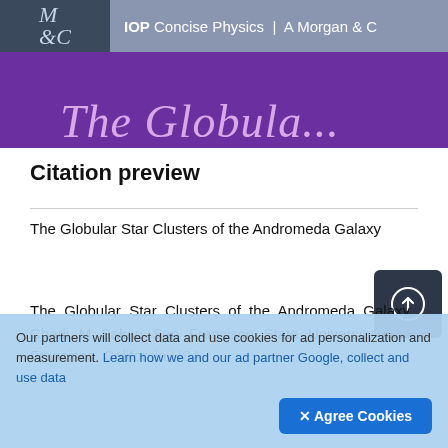IOP Concise Physics | A Morgan & C
The Globular...
Citation preview
The Globular Star Clusters of the Andromeda Galaxy
The Globular Star Clusters of the Andromeda Galaxy Charli M Sakari San Francisco State University San Francisco, California USA
Our partners will collect data and use cookies for ad personalization and measurement. Learn how we and our ad partner Google, collect and use data